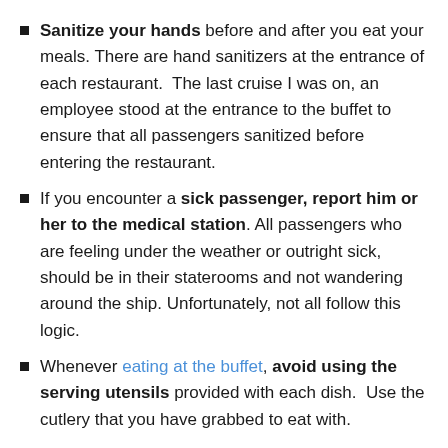Sanitize your hands before and after you eat your meals. There are hand sanitizers at the entrance of each restaurant. The last cruise I was on, an employee stood at the entrance to the buffet to ensure that all passengers sanitized before entering the restaurant.
If you encounter a sick passenger, report him or her to the medical station. All passengers who are feeling under the weather or outright sick, should be in their staterooms and not wandering around the ship. Unfortunately, not all follow this logic.
Whenever eating at the buffet, avoid using the serving utensils provided with each dish. Use the cutlery that you have grabbed to eat with.
Ensure that you are up-to-date with all of your vaccinations, and don't forget to take your